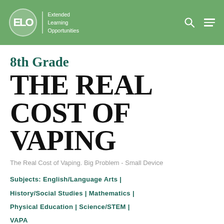ELO Extended Learning Opportunities
8th Grade
THE REAL COST OF VAPING
The Real Cost of Vaping. Big Problem - Small Device
Subjects: English/Language Arts | History/Social Studies | Mathematics | Physical Education | Science/STEM | VAPA